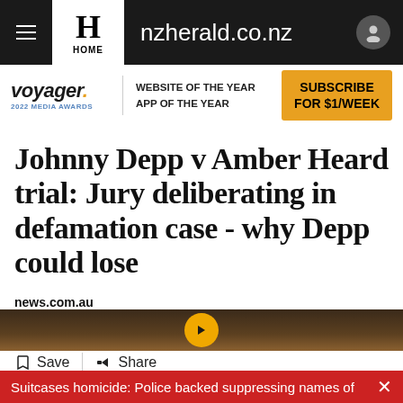nzherald.co.nz
[Figure (logo): Voyager 2022 Media Awards logo with text: voyager. 2022 MEDIA AWARDS | WEBSITE OF THE YEAR APP OF THE YEAR | SUBSCRIBE FOR $1/WEEK button]
Johnny Depp v Amber Heard trial: Jury deliberating in defamation case - why Depp could lose
news.com.au
27 May, 2022 07:32 PM  8 mins to read
Save  Share
[Figure (photo): Partial image strip showing dark warm-toned background with a golden circle/arrow element]
Suitcases homicide: Police backed suppressing names of  ×